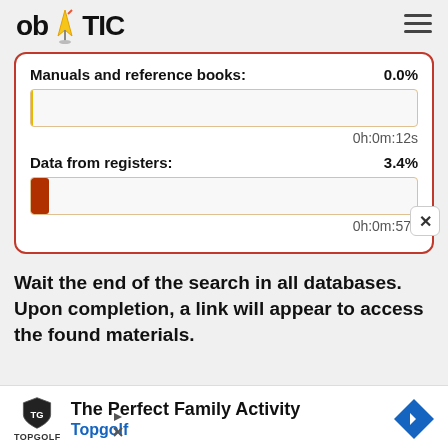ob TIC
[Figure (infographic): Progress card with two progress bars. First: 'Manuals and reference books: 0.0%' with near-empty bar and time '0h:0m:12s'. Second: 'Data from registers: 3.4%' with small red fill bar and time '0h:0m:57s'.]
Wait the end of the search in all databases.
Upon completion, a link will appear to access the found materials.
[Figure (infographic): Advertisement banner for Topgolf: 'The Perfect Family Activity' with Topgolf logo and navigation icon.]